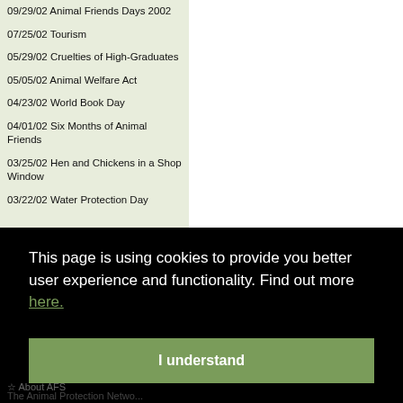09/29/02 Animal Friends Days 2002
07/25/02 Tourism
05/29/02 Cruelties of High-Graduates
05/05/02 Animal Welfare Act
04/23/02 World Book Day
04/01/02 Six Months of Animal Friends
03/25/02 Hen and Chickens in a Shop Window
03/22/02 Water Protection Day
This page is using cookies to provide you better user experience and functionality. Find out more here.
I understand
About AFS
The Animal Protection Netwo...